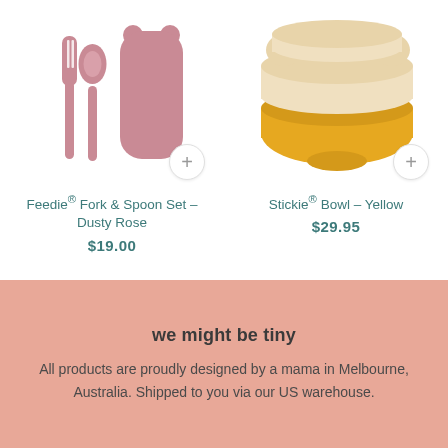[Figure (photo): Pink silicone baby fork and spoon set with a pink bear-shaped case, shown with a circular plus button overlay]
Feedie® Fork & Spoon Set – Dusty Rose
$19.00
[Figure (photo): Yellow silicone suction bowl with a cream/beige lid, shown with a circular plus button overlay]
Stickie® Bowl – Yellow
$29.95
we might be tiny
All products are proudly designed by a mama in Melbourne, Australia. Shipped to you via our US warehouse.